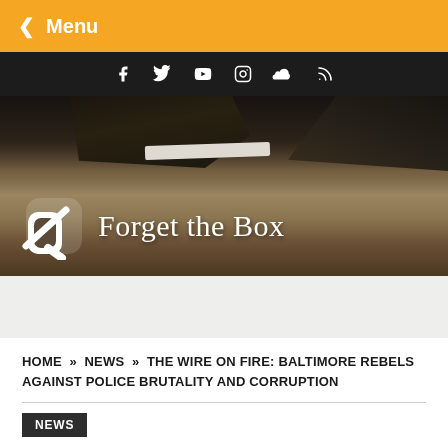< Menu
[Figure (screenshot): Social media icons bar: Facebook, Twitter, YouTube, Instagram, SoundCloud, RSS on black background]
[Figure (logo): Forget the Box logo — white slashed-zero symbol and serif text 'Forget the Box' over a dark photo of shoes on pavement]
HOME » NEWS » THE WIRE ON FIRE: BALTIMORE REBELS AGAINST POLICE BRUTALITY AND CORRUPTION
NEWS